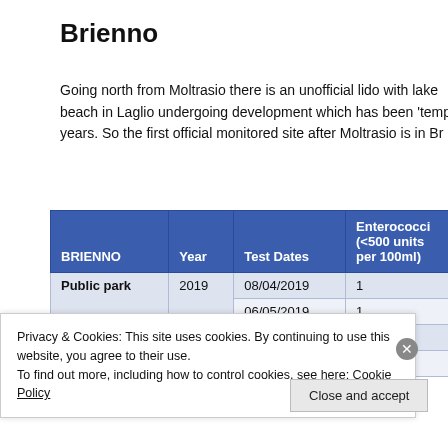Brienno
Going north from Moltrasio there is an unofficial lido with lake beach in Laglio undergoing development which has been 'tempe years. So the first official monitored site after Moltrasio is in Br
| BRIENNO | Year | Test Dates | Enterococci (<500 units per 100ml) |
| --- | --- | --- | --- |
| Public park | 2019 | 08/04/2019
06/05/2019 | 1
1 |
|  | 2020 | 18/05/2020
15/06/2020 | 4
1 |
Privacy & Cookies: This site uses cookies. By continuing to use this website, you agree to their use.
To find out more, including how to control cookies, see here: Cookie Policy